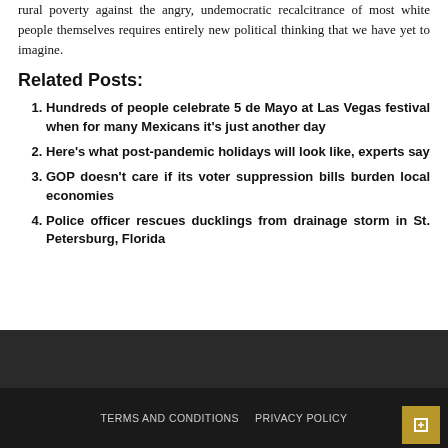rural poverty against the angry, undemocratic recalcitrance of most white people themselves requires entirely new political thinking that we have yet to imagine.
Related Posts:
Hundreds of people celebrate 5 de Mayo at Las Vegas festival when for many Mexicans it's just another day
Here's what post-pandemic holidays will look like, experts say
GOP doesn't care if its voter suppression bills burden local economies
Police officer rescues ducklings from drainage storm in St. Petersburg, Florida
TERMS AND CONDITIONS   PRIVACY POLICY